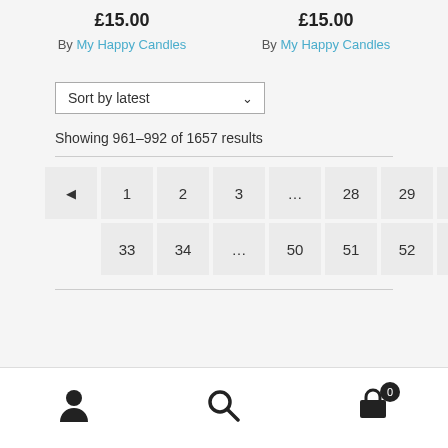£15.00  £15.00
By My Happy Candles   By My Happy Candles
Sort by latest
Showing 961–992 of 1657 results
◄ 1 2 3 … 28 29 30 31 32 33 34 … 50 51 52 ►